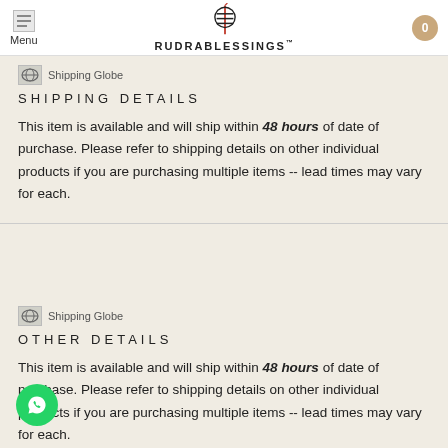Menu | RUDRABLESSINGS™ | 0
SHIPPING DETAILS
This item is available and will ship within 48 hours of date of purchase. Please refer to shipping details on other individual products if you are purchasing multiple items -- lead times may vary for each.
OTHER DETAILS
This item is available and will ship within 48 hours of date of purchase. Please refer to shipping details on other individual products if you are purchasing multiple items -- lead times may vary for each.